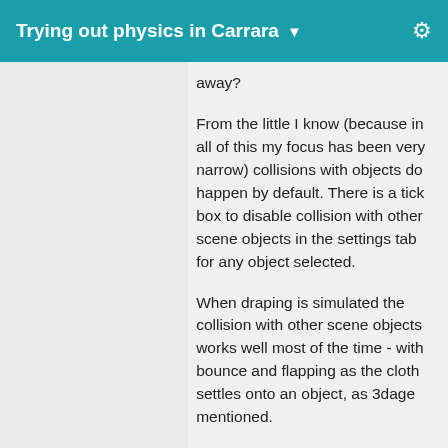Trying out physics in Carrara
away?
From the little I know (because in all of this my focus has been very narrow) collisions with objects do happen by default. There is a tick box to disable collision with other scene objects in the settings tab for any object selected.
When draping is simulated the collision with other scene objects works well most of the time - with bounce and flapping as the cloth settles onto an object, as 3dage mentioned.